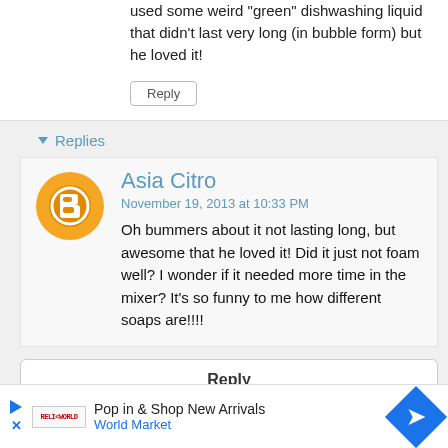used some weird "green" dishwashing liquid that didn't last very long (in bubble form) but he loved it!
Reply
Replies
Asia Citro
November 19, 2013 at 10:33 PM
Oh bummers about it not lasting long, but awesome that he loved it! Did it just not foam well? I wonder if it needed more time in the mixer? It's so funny to me how different soaps are!!!!
Reply
Pop in & Shop New Arrivals
World Market